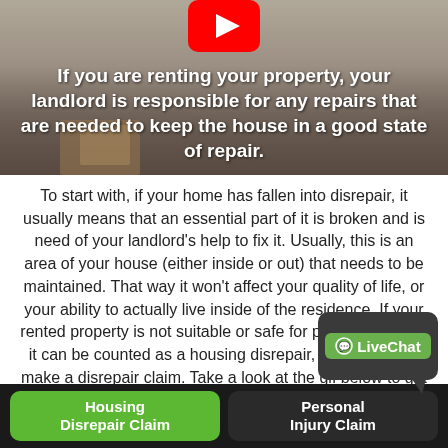[Figure (screenshot): Video thumbnail showing people moving boxes in a room, with YouTube play button icon at top center. White bold text overlay reads: 'If you are renting your property, your landlord is responsible for any repairs that are needed to keep the house in a good state of repair.']
To start with, if your home has fallen into disrepair, it usually means that an essential part of it is broken and is need of your landlord's help to fix it. Usually, this is an area of your house (either inside or out) that needs to be maintained. That way it won't affect your quality of life, or your ability to actually live inside of the residence. If your rented property is not suitable or safe for people to live in, it can be counted as a housing disrepair, and you could make a disrepair claim. Take a look at the gif below to get a bett...
[Figure (logo): LiveChat green speech bubble logo with white text]
Housing Disrepair Claim
Personal Injury Claim